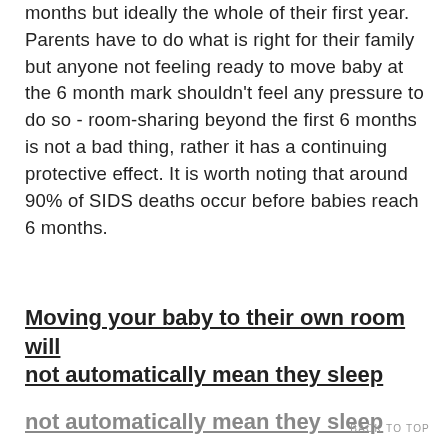months but ideally the whole of their first year. Parents have to do what is right for their family but anyone not feeling ready to move baby at the 6 month mark shouldn't feel any pressure to do so - room-sharing beyond the first 6 months is not a bad thing, rather it has a continuing protective effect. It is worth noting that around 90% of SIDS deaths occur before babies reach 6 months.
Moving your baby to their own room will not automatically mean they sleep
BACK TO TOP